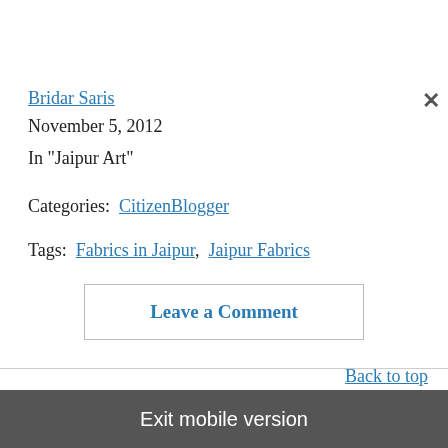Bridar Saris
November 5, 2012
In "Jaipur Art"
Categories: CitizenBlogger
Tags: Fabrics in Jaipur, Jaipur Fabrics
Leave a Comment
Back to top
Exit mobile version